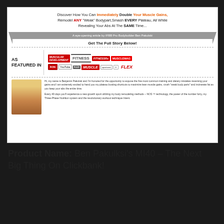[Figure (screenshot): Screenshot of a fitness/bodybuilding sales page for Ben Pakulski's MI40, showing headline text, ribbon banner, magazine logos (Muscular Development, Fitness, FitnessRx, Musclemag, Flex, Muscle, YouTube, etc.), a photo of a bodybuilder, and introductory body text.]
Product Name: Ben Pakulksi's MI40 – The Next Big Thing On Clickbank!